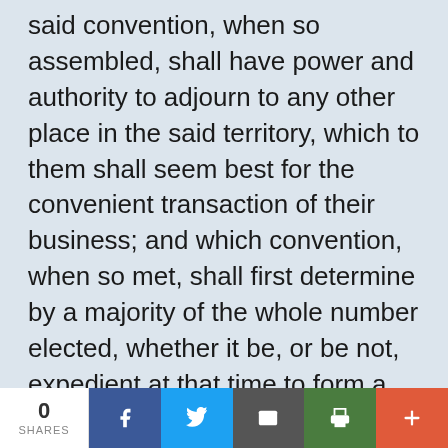said convention, when so assembled, shall have power and authority to adjourn to any other place in the said territory, which to them shall seem best for the convenient transaction of their business; and which convention, when so met, shall first determine by a majority of the whole number elected, whether it be, or be not, expedient at that time to form a constitution and state government for the people within the said territory, as included within the boundaries above designated; and if it be deemed expedient, the convention shall be, and hereby is
0 SHARES | Share on Facebook | Share on Twitter | Email | Print | More